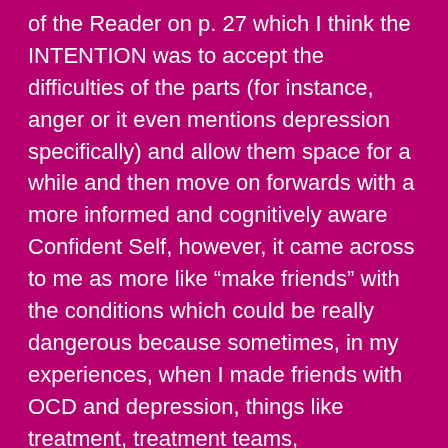of the Reader on p. 27 which I think the INTENTION was to accept the difficulties of the parts (for instance, anger or it even mentions depression specifically) and allow them space for a while and then move on forwards with a more informed and cognitively aware Confident Self, however, it came across to me as more like “make friends” with the conditions which could be really dangerous because sometimes, in my experiences, when I made friends with OCD and depression, things like treatment, treatment teams, medications, behavioral changes etc. felt threatened and I felt like it had been Us Against the World and it’s not like those conditions really had my best interests at heart (read: harm and death). Like, they would have done everything and anything to make me go down with them so I just